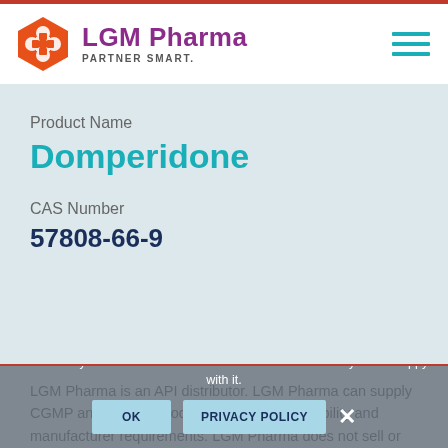[Figure (logo): LGM Pharma logo with orange hexagon icon and purple text reading 'LGM Pharma' with tagline 'PARTNER SMART.']
Product Name
Domperidone
CAS Number
57808-66-9
LGM Pharma is an API distributor. LGM Pharma can supply CGMP and/or DMF products subject to availability and manufacturer requirements. LGM Pharma does not sell or supply APIs or finished dosage products to individual patients, doctors, pharmacies, or any pharmaceutical
We use cookies to ensure that we give you the best experience on our website. If you continue to use this site we will assume that you are happy with it.